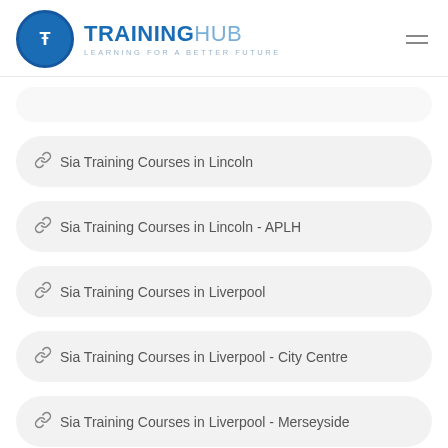[Figure (logo): TrainingHub logo with blue circle containing a T symbol and text TRAININGHUB LEARNING FOR A BETTER FUTURE]
Sia Training Courses in Lincoln
Sia Training Courses in Lincoln - APLH
Sia Training Courses in Liverpool
Sia Training Courses in Liverpool - City Centre
Sia Training Courses in Liverpool - Merseyside